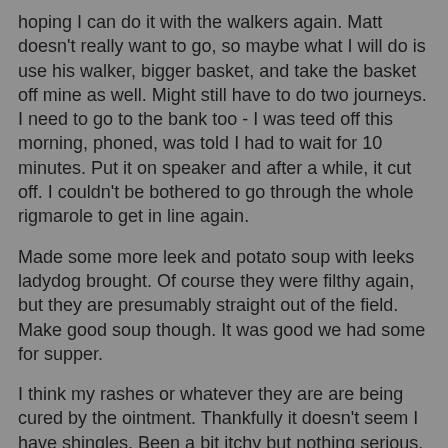hoping I can do it with the walkers again. Matt doesn't really want to go, so maybe what I will do is use his walker, bigger basket, and take the basket off mine as well. Might still have to do two journeys. I need to go to the bank too - I was teed off this morning, phoned, was told I had to wait for 10 minutes. Put it on speaker and after a while, it cut off. I couldn't be bothered to go through the whole rigmarole to get in line again.
Made some more leek and potato soup with leeks ladydog brought. Of course they were filthy again, but they are presumably straight out of the field. Make good soup though. It was good we had some for supper.
I think my rashes or whatever they are are being cured by the ointment. Thankfully it doesn't seem I have shingles. Been a bit itchy but nothing serious. Fingers still crossed.
I love cabbage and yet this is another dish I haven't tried. I must admit if I serve cabbage to 'company' it is often my favourite sautéed version which is delicious anyway.